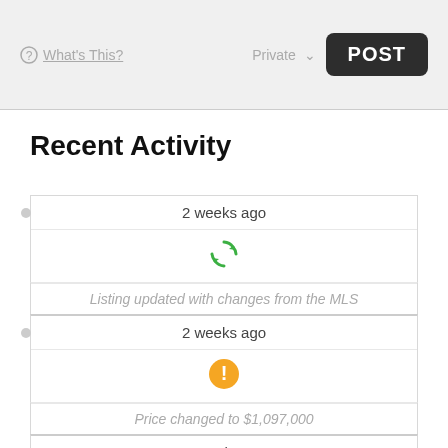What's This?   Private   POST
Recent Activity
2 weeks ago
[Figure (illustration): Green circular refresh/sync arrows icon]
Listing updated with changes from the MLS
2 weeks ago
[Figure (illustration): Orange circle with exclamation mark warning icon]
Price changed to $1,097,000
2 months ago
[Figure (illustration): Orange circle with exclamation mark warning icon]
Status changed to ACTIVE
2 months ago